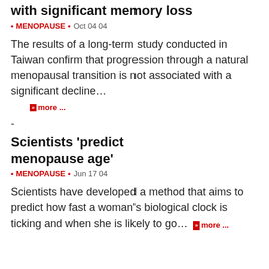with significant memory loss
• MENOPAUSE • Oct 04 04
The results of a long-term study conducted in Taiwan confirm that progression through a natural menopausal transition is not associated with a significant decline…
>> more ...
-
Scientists 'predict menopause age'
• MENOPAUSE • Jun 17 04
Scientists have developed a method that aims to predict how fast a woman's biological clock is ticking and when she is likely to go… >> more ...